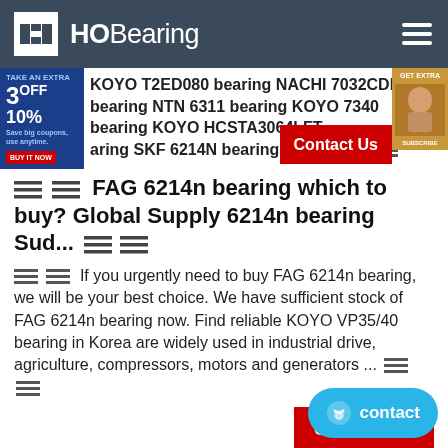HOBearing
KOYO T2ED080 bearing NACHI 7032CDF bearing NTN 6311 bearing KOYO 7340 bearing KOYO HCSTA3064LFT bearing SKF 6214N bearing NTN 4T ≡≡
≡≡ FAG 6214n bearing which to buy? Global Supply 6214n bearing Sud... ≡≡≡
≡≡ If you urgently need to buy FAG 6214n bearing, we will be your best choice. We have sufficient stock of FAG 6214n bearing now. Find reliable KOYO VP35/40 bearing in Korea are widely used in industrial drive, agriculture, compressors, motors and generators ... ≡≡
Contact Us
≡≡ 6214n bearing_6214n Makers_Laos_nsk Bearin... ≡≡≡
contact